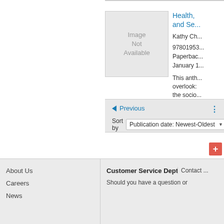[Figure (illustration): Book cover placeholder showing 'Image Not Available' text with a faded decorative background graphic]
Health, and Se...
Kathy Ch...
97801953... Paperback January 1...
This anth... overlook... the socio...
◄ Previous
Sort by  Publication date: Newest-Oldest
About Us
Careers
News
Customer Service Dept
Should you have a question or
Contact ...